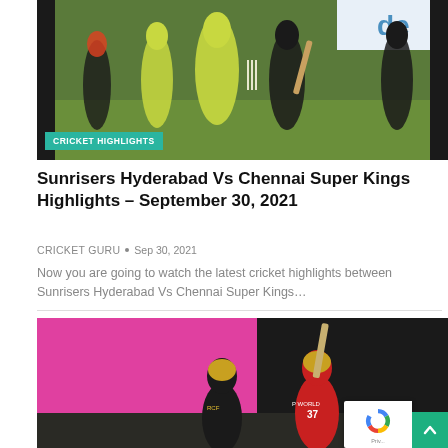[Figure (photo): Cricket players on field, Sunrisers Hyderabad vs Chennai Super Kings IPL match. Players in yellow and orange-black uniforms on green field.]
CRICKET HIGHLIGHTS
Sunrisers Hyderabad Vs Chennai Super Kings Highlights – September 30, 2021
CRICKET GURU  •  Sep 30, 2021
Now you are going to watch the latest cricket highlights between Sunrisers Hyderabad Vs Chennai Super Kings...
[Figure (photo): Two RCB cricket players celebrating, one raising bat in the air, pink background on left and dark on right. Player wearing jersey number 37.]